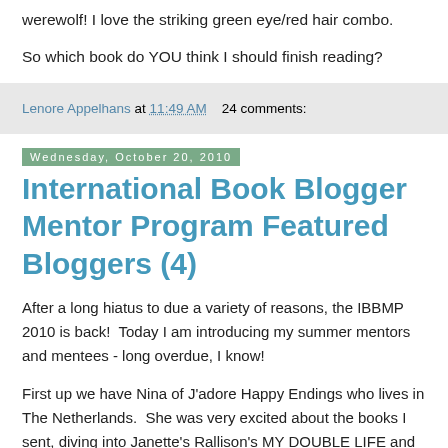werewolf! I love the striking green eye/red hair combo.
So which book do YOU think I should finish reading?
Lenore Appelhans at 11:49 AM    24 comments:
Wednesday, October 20, 2010
International Book Blogger Mentor Program Featured Bloggers (4)
After a long hiatus to due a variety of reasons, the IBBMP 2010 is back!  Today I am introducing my summer mentors and mentees - long overdue, I know!
First up we have Nina of J'adore Happy Endings who lives in The Netherlands.  She was very excited about the books I sent, diving into Janette's Rallison's MY DOUBLE LIFE and recommending it to her readers as the perfect summer read. Check out her full review! She also adored Kimberly Derting's THE BODY FINDER, saying it "has all the right